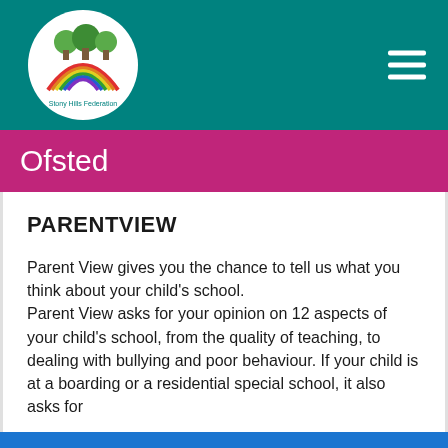[Figure (logo): Stony Hills Federation logo with rainbow and trees inside a white circle on teal background]
Ofsted
PARENTVIEW
Parent View gives you the chance to tell us what you think about your child's school. Parent View asks for your opinion on 12 aspects of your child's school, from the quality of teaching, to dealing with bullying and poor behaviour. If your child is at a boarding or a residential special school, it also asks for
eSchools uses cookies to ensure you get the best experience on this website. Learn more
Dismiss | Accept specific | Accept all